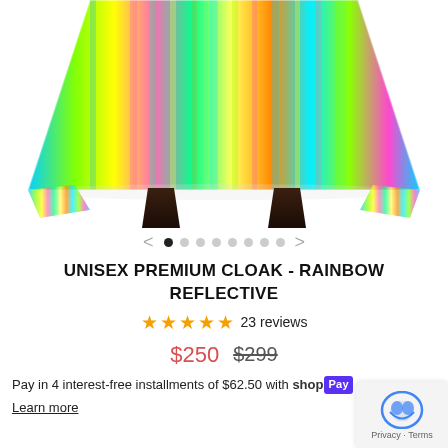[Figure (photo): Lower portion of a person wearing a rainbow reflective holographic cloak/dress, showing legs from thighs down]
UNISEX PREMIUM CLOAK - RAINBOW REFLECTIVE
★★★★★ 23 reviews
$250  $299
Pay in 4 interest-free installments of $62.50 with Shop Pay
Learn more